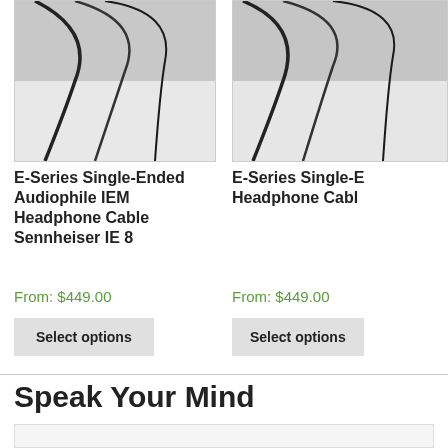[Figure (photo): Product photo of E-Series Single-Ended Audiophile IEM Headphone Cable (left card), cropped showing headphone cables on light background]
[Figure (photo): Product photo of E-Series Single-Ended Audiophile IEM Headphone Cable (right card, partially visible), cropped showing headphone cables on light background]
E-Series Single-Ended Audiophile IEM Headphone Cable Sennheiser IE 8
From: $449.00
Select options
E-Series Single-Ended Audiophile IEM Headphone Cable (partially visible)
From: $449.00
Select options
Speak Your Mind